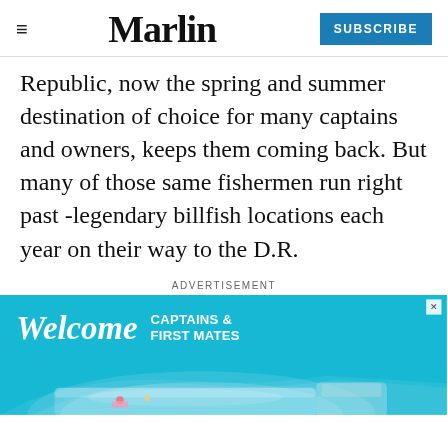Marlin | SUBSCRIBE
Republic, now the spring and summer destination of choice for many captains and owners, keeps them coming back. But many of those same fishermen run right past -legendary billfish locations each year on their way to the D.R.
ADVERTISEMENT
[Figure (photo): Advertisement banner with teal ocean background showing a boat aerial view with people on deck. Text reads: Welcome CAPTAINS & FIRST MATES]